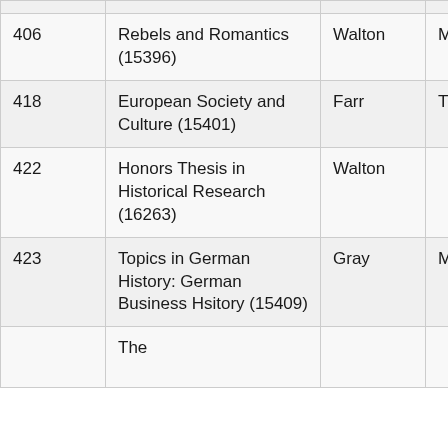| Course # | Course Name | Instructor | Days | Time |
| --- | --- | --- | --- | --- |
| 406 | Rebels and Romantics (15396) | Walton | MWF | 9: |
| 418 | European Society and Culture (15401) | Farr | TTh | 10-11 |
| 422 | Honors Thesis in Historical Research (16263) | Walton |  | Ar |
| 423 | Topics in German History: German Business Hsitory (15409) | Gray | MWF | 12 |
|  | The |  |  |  |